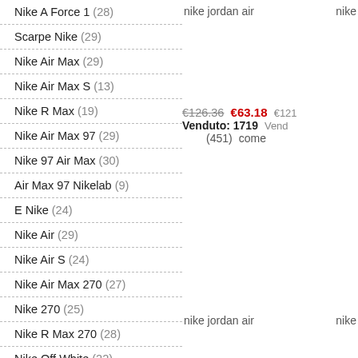Nike A Force 1 (28)
Scarpe Nike (29)
Nike Air Max (29)
Nike Air Max S (13)
Nike R Max (19)
Nike Air Max 97 (29)
Nike 97 Air Max (30)
Air Max 97 Nikelab (9)
E Nike (24)
Nike Air (29)
Nike Air S (24)
Nike Air Max 270 (27)
Nike 270 (25)
Nike R Max 270 (28)
Nike Off White (22)
Nike Huarache (27)
nike jordan air
nike
€126.36  €63.18
Venduto: 1719
(451)  come
€121  Vend
nike jordan air
nike